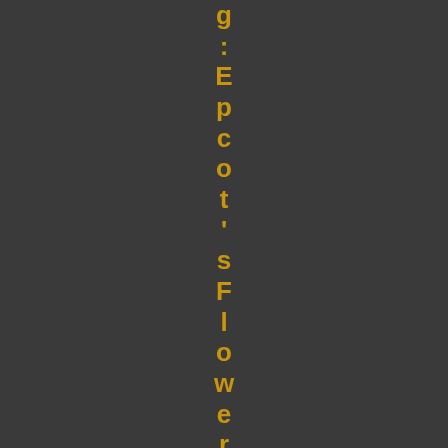g: Epcot's Flower & Garden Festival